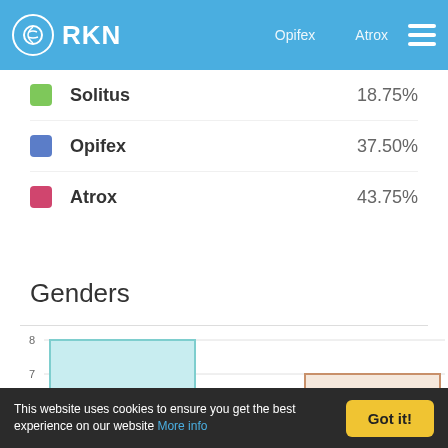RKN · Opifex · Atrox
Solitus 18.75%
Opifex 37.50%
Atrox 43.75%
Genders
[Figure (bar-chart): Genders]
This website uses cookies to ensure you get the best experience on our website More info